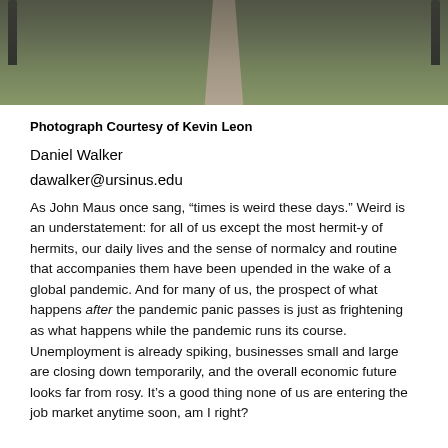[Figure (photo): Photograph of a winding brick pathway through a green campus lawn with lamp posts on either side]
Photograph Courtesy of Kevin Leon
Daniel Walker
dawalker@ursinus.edu
As John Maus once sang, “times is weird these days.” Weird is an understatement: for all of us except the most hermit-y of hermits, our daily lives and the sense of normalcy and routine that accompanies them have been upended in the wake of a global pandemic. And for many of us, the prospect of what happens after the pandemic panic passes is just as frightening as what happens while the pandemic runs its course. Unemployment is already spiking, businesses small and large are closing down temporarily, and the overall economic future looks far from rosy. It’s a good thing none of us are entering the job market anytime soon, am I right?